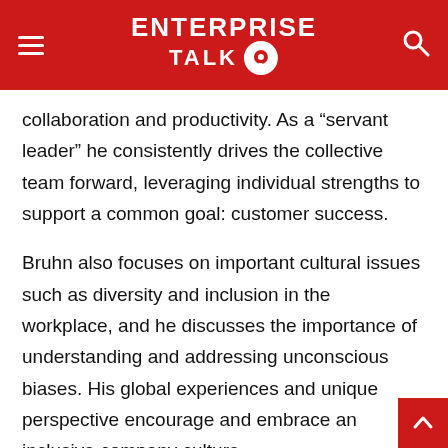ENTERPRISE TALK
collaboration and productivity. As a “servant leader” he consistently drives the collective team forward, leveraging individual strengths to support a common goal: customer success.
Bruhn also focuses on important cultural issues such as diversity and inclusion in the workplace, and he discusses the importance of understanding and addressing unconscious biases. His global experiences and unique perspective encourage and embrace an inclusive company culture.
In the coming months, Bruhn will publicly outline his business strategy for Ricoh North America. Bruhn’s strategy